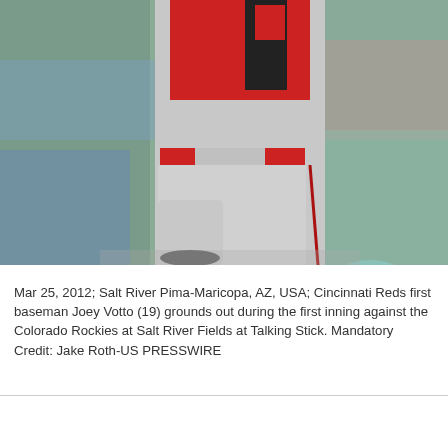[Figure (photo): Baseball player Joey Votto in a Cincinnati Reds red jersey and gray pants with red stripe, mid-swing or motion on the field, crowd of spectators blurred in background at Salt River Fields]
Mar 25, 2012; Salt River Pima-Maricopa, AZ, USA; Cincinnati Reds first baseman Joey Votto (19) grounds out during the first inning against the Colorado Rockies at Salt River Fields at Talking Stick. Mandatory Credit: Jake Roth-US PRESSWIRE